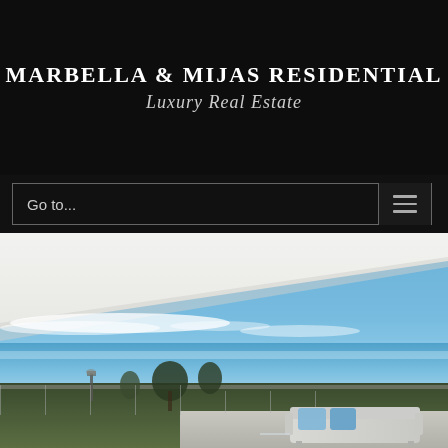MARBELLA & MIJAS RESIDENTIAL Luxury Real Estate
Go to...
[Figure (photo): Luxury real estate property photo showing a modern terrace with white ceiling overhang, ocean/sea view with blue sky and clouds, green trees along the coastline, and a white sofa with blue cushions in the foreground. Mediterranean coastal setting.]